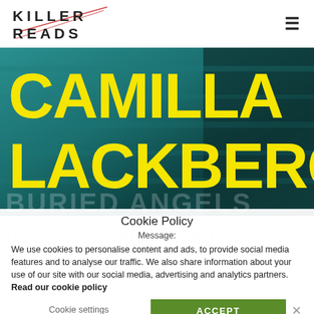KILLER READS
[Figure (illustration): Camilla Lackberg book promotional banner with yellow text 'CAMILLA LACKBERG' on teal/dark background, with 'BURIED ANGELS' text partially visible]
Cookie Policy
Message:
We use cookies to personalise content and ads, to provide social media features and to analyse our traffic. We also share information about your use of our site with our social media, advertising and analytics partners. Read our cookie policy
Cookie settings
ACCEPT